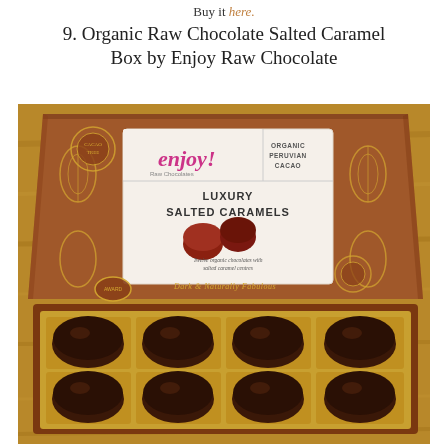Buy it here.
9. Organic Raw Chocolate Salted Caramel Box by Enjoy Raw Chocolate
[Figure (photo): A brown box of Enjoy Raw Chocolate Luxury Salted Caramels, open to show twelve dark chocolate salted caramel bonbons in a gold tray, with the box lid leaning behind showing the brand label with the 'enjoy!' logo, 'Organic Peruvian Cacao', 'Luxury Salted Caramels', images of chocolates, and text 'Twelve organic chocolates with salted caramel centres' and 'Dark & Naturally Fabulous', on a wooden background.]